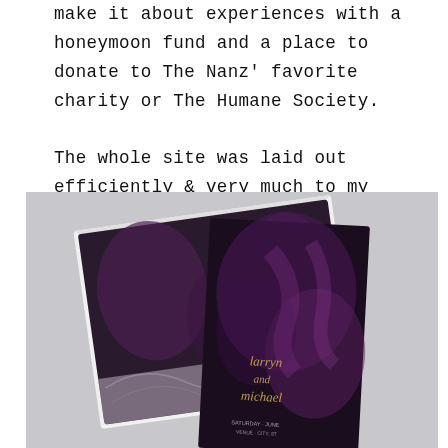make it about experiences with a honeymoon fund and a place to donate to The Nanz' favorite charity or The Humane Society.

The whole site was laid out efficiently & very much to my invite's aesthetic.
[Figure (photo): Dark luxury wedding invitation suite showing a dark purple/black card with gold script text and a white envelope with floral marble liner, arranged on a light grey background.]